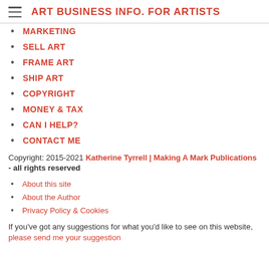ART BUSINESS INFO. FOR ARTISTS
MARKETING
SELL ART
FRAME ART
SHIP ART
COPYRIGHT
MONEY & TAX
CAN I HELP?
CONTACT ME
Copyright: 2015-2021 Katherine Tyrrell | Making A Mark Publications
- all rights reserved
About this site
About the Author
Privacy Policy & Cookies
If you've got any suggestions for what you'd like to see on this website, please send me your suggestion